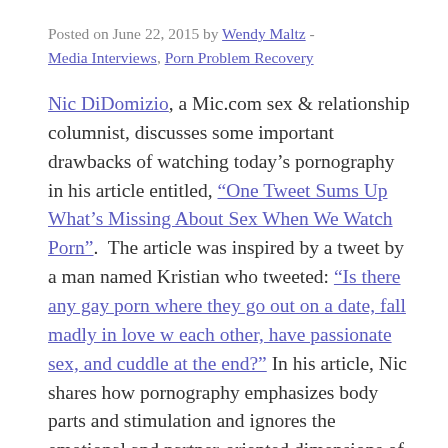Posted on June 22, 2015 by Wendy Maltz - Media Interviews, Porn Problem Recovery
Nic DiDomizio, a Mic.com sex & relationship columnist, discusses some important drawbacks of watching today's pornography in his article entitled, “One Tweet Sums Up What's Missing About Sex When We Watch Porn”.  The article was inspired by a tweet by a man named Kristian who tweeted: “Is there any gay porn where they go out on a date, fall madly in love w each other, have passionate sex, and cuddle at the end?” In his article, Nic shares how pornography emphasizes body parts and stimulation and ignores the emotional and partner-oriented dimensions of